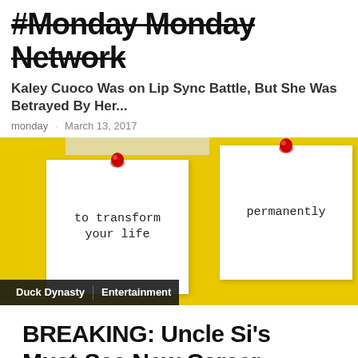#Monday Monday Network
Kaley Cuoco Was on Lip Sync Battle, But She Was Betrayed By Her...
monday · March 13, 2017
[Figure (photo): Yellow background with two white sticky notes pinned with red heart-shaped thumbtacks. Left note reads 'to transform your life', right note reads 'permanently'. Tags bar at bottom shows 'Duck Dynasty' and 'Entertainment'.]
BREAKING: Uncle Si's Must-See New Career Move... This Changes Everything...